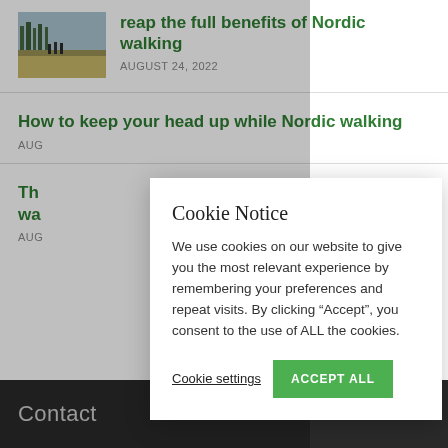[Figure (photo): Thumbnail photo of people walking outdoors in a field/park setting with trees in background]
reap the full benefits of Nordic walking
AUGUST 24, 2022
How to keep your head up while Nordic walking
AUG
Th... wa...
AUG
Cookie Notice
We use cookies on our website to give you the most relevant experience by remembering your preferences and repeat visits. By clicking “Accept”, you consent to the use of ALL the cookies.
Cookie settings
ACCEPT ALL
Contact